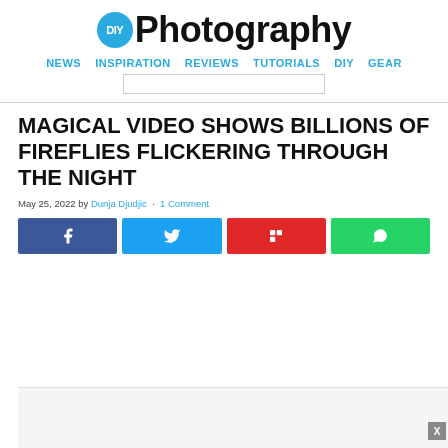[Figure (logo): DIYPhotography logo with cyan circle containing 'DIY' text and bold 'Photography' wordmark]
NEWS  INSPIRATION  REVIEWS  TUTORIALS  DIY  GEAR
MAGICAL VIDEO SHOWS BILLIONS OF FIREFLIES FLICKERING THROUGH THE NIGHT
May 25, 2022 by Dunja Djudjic · 1 Comment
[Figure (infographic): Social share buttons: Facebook (blue), Twitter (cyan), Flipboard (red), WhatsApp (green)]
[Figure (other): Advertisement placeholder at bottom of page with X close button]